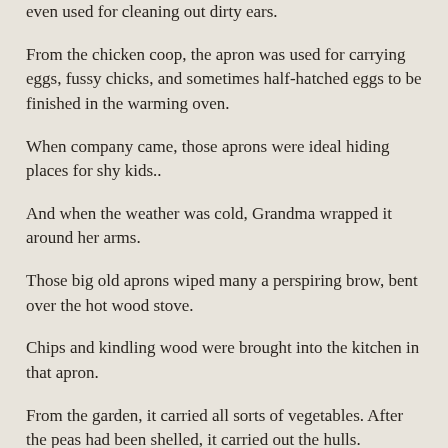even used for cleaning out dirty ears.
From the chicken coop, the apron was used for carrying eggs, fussy chicks, and sometimes half-hatched eggs to be finished in the warming oven.
When company came, those aprons were ideal hiding places for shy kids..
And when the weather was cold, Grandma wrapped it around her arms.
Those big old aprons wiped many a perspiring brow, bent over the hot wood stove.
Chips and kindling wood were brought into the kitchen in that apron.
From the garden, it carried all sorts of vegetables. After the peas had been shelled, it carried out the hulls.
In the fall, the apron was used to bring in apples that had fallen